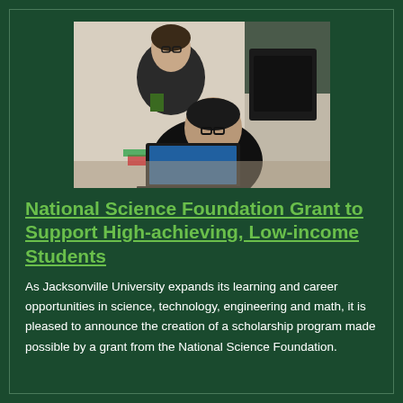[Figure (photo): Two students working together at a laptop computer in a classroom or lab setting, with what appears to be a 3D printer or equipment in the background.]
National Science Foundation Grant to Support High-achieving, Low-income Students
As Jacksonville University expands its learning and career opportunities in science, technology, engineering and math, it is pleased to announce the creation of a scholarship program made possible by a grant from the National Science Foundation.